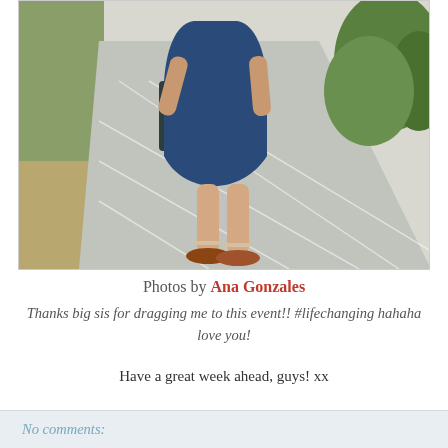[Figure (photo): Photo of a woman in a navy blue dress and brown flat sandals walking on a sidewalk, carrying a dark tote bag. Green bushes visible on the right, grass on the left.]
Photos by Ana Gonzales
Thanks big sis for dragging me to this event!! #lifechanging hahaha love you!
Have a great week ahead, guys! xx
No comments: